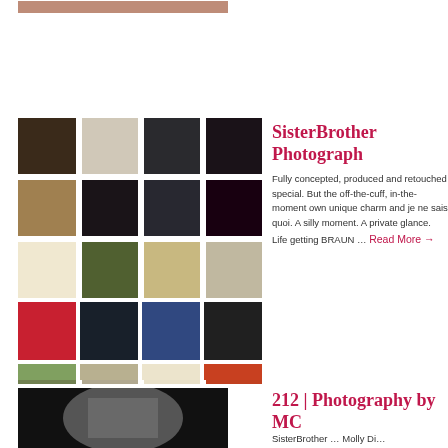[Figure (photo): Partial image at top of page, cropped photo of a person]
[Figure (photo): Grid collage of 20 small thumbnail photos arranged in 5 rows of 4]
SisterBrother Photography
Fully concepted, produced and retouched special. But the off-the-cuff, in-the-moment own unique charm and je ne sais quoi. A silly moment. A private glance. Life getting BRAUN … Read More →
[Figure (photo): Black and white photo of a woman with arms raised, cropped at bottom of page]
212 | Photography by MC
SisterBrother … Molly Di…